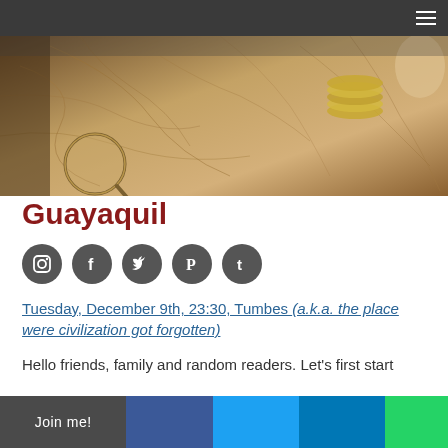Navigation bar with hamburger menu
[Figure (photo): Aerial/overhead view of an antique map with a magnifying glass, coins, and a compass rose, in warm sepia/brown tones — travel blog hero image]
Guayaquil
[Figure (infographic): Row of five circular dark gray social media icons: Instagram, Facebook, Twitter, Pinterest, Tumblr]
Tuesday, December 9th, 23:30, Tumbes (a.k.a. the place were civilization got forgotten)
Hello friends, family and random readers. Let's first start
Join me!